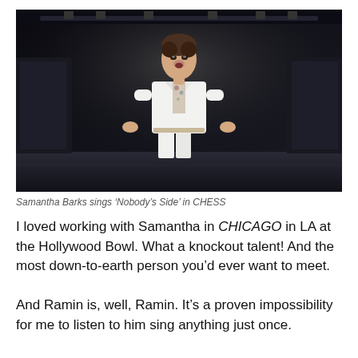[Figure (photo): Samantha Barks on stage singing, wearing a white blazer and white trousers with a floral blouse, dark stage background with lighting rigs visible]
Samantha Barks sings ‘Nobody’s Side’ in CHESS
I loved working with Samantha in CHICAGO in LA at the Hollywood Bowl. What a knockout talent! And the most down-to-earth person you’d ever want to meet.
And Ramin is, well, Ramin. It’s a proven impossibility for me to listen to him sing anything just once.